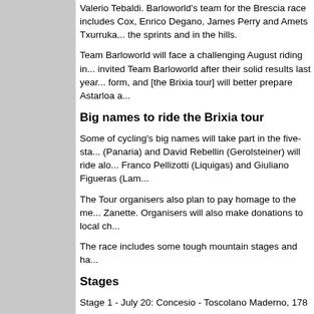Valerio Tebaldi. Barloworld's team for the Brescia race includes Cox, Enrico Degano, James Perry and Amets Txurruka... the sprints and in the hills.
Team Barloworld will face a challenging August riding in... invited Team Barloworld after their solid results last year... form, and [the Brixia tour] will better prepare Astarloa a...
Big names to ride the Brixia tour
Some of cycling's big names will take part in the five-sta... (Panaria) and David Rebellin (Gerolsteiner) will ride alo... Franco Pellizotti (Liquigas) and Giuliano Figueras (Lam...
The Tour organisers also plan to pay homage to the me... Zanette. Organisers will also make donations to local ch...
The race includes some tough mountain stages and ha...
Stages
Stage 1 - July 20: Concesio - Toscolano Maderno, 178 ...
Stage 2 - July 21: Brescia - Buffalora - Passo Maniva , ...
Stage 3 - July 22: Pisogne - Darfo Boario Terme, 102 km
Stage 4 - July 22: Pian Camuno - Saviore dell'Adamello...
Stage 5 - July 23: Bassano Bresciano - Manerbio - Pala...
Clinger in jail after barroom brawl
Former continental professional David Clinger was jaile... harassment, defiant trespass and resisting arrest. The 2... Creek Bar, Topton, where it is alleged he touched a wo...